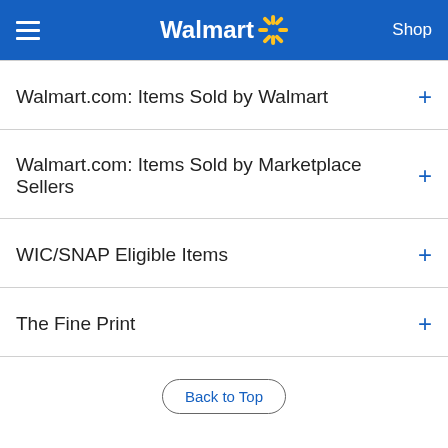Walmart — Shop
Walmart.com: Items Sold by Walmart
Walmart.com: Items Sold by Marketplace Sellers
WIC/SNAP Eligible Items
The Fine Print
Back to Top